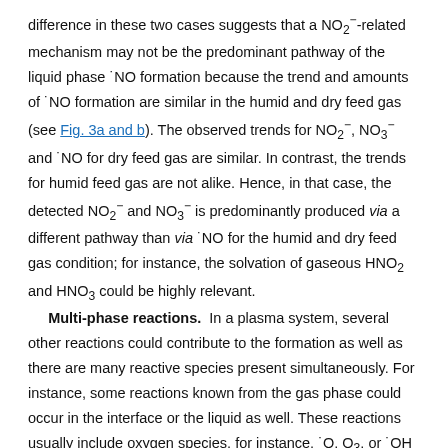difference in these two cases suggests that a NO2−-related mechanism may not be the predominant pathway of the liquid phase ·NO formation because the trend and amounts of ·NO formation are similar in the humid and dry feed gas (see Fig. 3a and b). The observed trends for NO2−, NO3− and ·NO for dry feed gas are similar. In contrast, the trends for humid feed gas are not alike. Hence, in that case, the detected NO2− and NO3− is predominantly produced via a different pathway than via ·NO for the humid and dry feed gas condition; for instance, the solvation of gaseous HNO2 and HNO3 could be highly relevant. Multi-phase reactions. In a plasma system, several other reactions could contribute to the formation as well as there are many reactive species present simultaneously. For instance, some reactions known from the gas phase could occur in the interface or the liquid as well. These reactions usually include oxygen species, for instance, ·O, O3, or ·OH (reaction (2) and reactions (16)–(21)). As